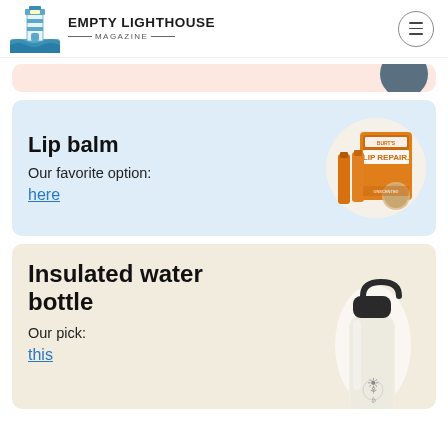EMPTY LIGHTHOUSE MAGAZINE
[Figure (illustration): Partial pink card with a dark circular product image in upper right corner]
Lip balm
Our favorite option:
here
[Figure (photo): Burt's Bees Lip Repair product pack with orange packaging, showing multiple lip balm sticks]
Insulated water bottle
Our pick:
this
[Figure (photo): White Hydro Flask insulated water bottle with black lid and handle]